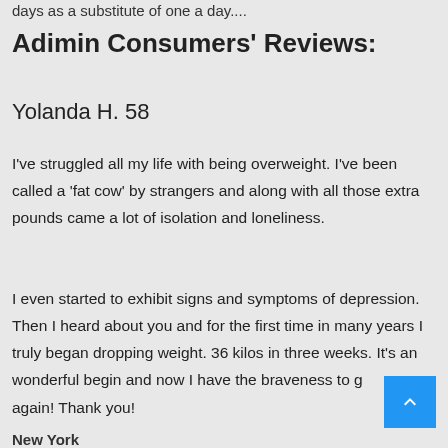days as a substitute of one a day....
Adimin Consumers' Reviews:
Yolanda H. 58
I've struggled all my life with being overweight. I've been called a ‘fat cow’ by strangers and along with all those extra pounds came a lot of isolation and loneliness.
I even started to exhibit signs and symptoms of depression. Then I heard about you and for the first time in many years I truly began dropping weight. 36 kilos in three weeks. It’s an wonderful begin and now I have the braveness to g... again! Thank you!
New York